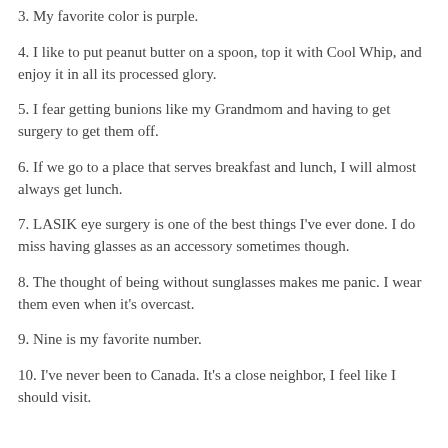3. My favorite color is purple.
4. I like to put peanut butter on a spoon, top it with Cool Whip, and enjoy it in all its processed glory.
5. I fear getting bunions like my Grandmom and having to get surgery to get them off.
6. If we go to a place that serves breakfast and lunch, I will almost always get lunch.
7. LASIK eye surgery is one of the best things I've ever done. I do miss having glasses as an accessory sometimes though.
8. The thought of being without sunglasses makes me panic. I wear them even when it's overcast.
9. Nine is my favorite number.
10. I've never been to Canada. It's a close neighbor, I feel like I should visit.